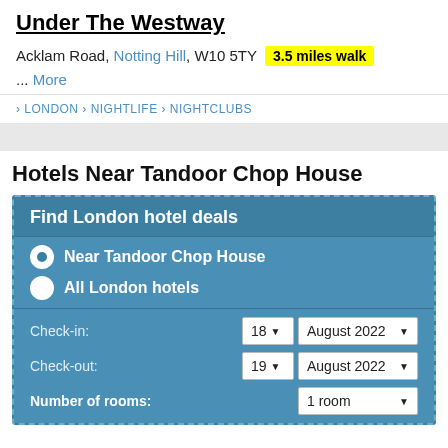Under The Westway
Acklam Road, Notting Hill, W10 5TY  3.5 miles walk
... More
> LONDON > NIGHTLIFE > NIGHTCLUBS
Hotels Near Tandoor Chop House
Find London hotel deals
Near Tandoor Chop House
All London hotels
Check-in: 18 August 2022
Check-out: 19 August 2022
Number of rooms: 1 room